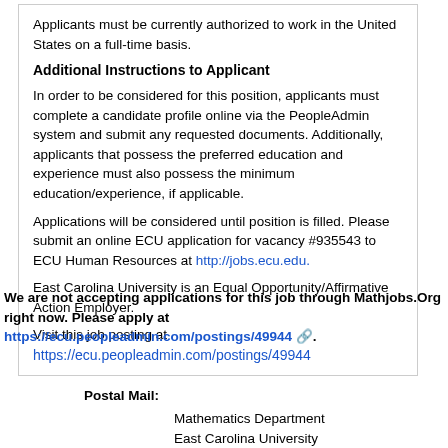Applicants must be currently authorized to work in the United States on a full-time basis.
Additional Instructions to Applicant
In order to be considered for this position, applicants must complete a candidate profile online via the PeopleAdmin system and submit any requested documents. Additionally, applicants that possess the preferred education and experience must also possess the minimum education/experience, if applicable.
Applications will be considered until position is filled. Please submit an online ECU application for vacancy #935543 to ECU Human Resources at http://jobs.ecu.edu.
East Carolina University is an Equal Opportunity/Affirmative Action Employer.
Visit this job posting at https://ecu.peopleadmin.com/postings/49944
We are not accepting applications for this job through Mathjobs.Org right now. Please apply at https://ecu.peopleadmin.com/postings/49944.
Postal Mail:
Mathematics Department
East Carolina University
124 Austin Building